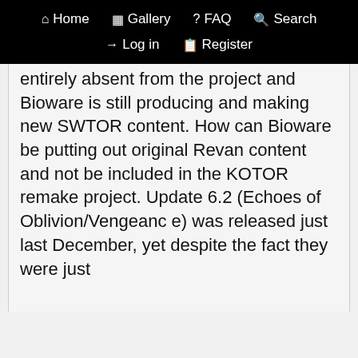Home  Gallery  FAQ  Search  Log in  Register
entirely absent from the project and Bioware is still producing and making new SWTOR content. How can Bioware be putting out original Revan content and not be included in the KOTOR remake project. Update 6.2 (Echoes of Oblivion/Vengeance) was released just last December, yet despite the fact they were just